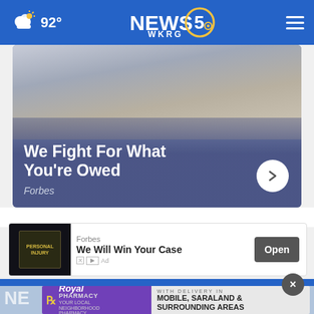NEWS 5 WKRG | 92°
[Figure (photo): Advertisement showing a person with a neck brace holding cash and a wallet. Overlay text reads 'We Fight For What You're Owed' with source 'Forbes'.]
[Figure (other): Second advertisement bar: Forbes - 'We Will Win Your Case' with an Open button. Ad label with X|D icons shown.]
[Figure (other): Royal Pharmacy advertisement banner: 'YOUR LOCAL NEIGHBORHOOD PHARMACY - WITH DELIVERY IN MOBILE, SARALAND & SURROUNDING AREAS']